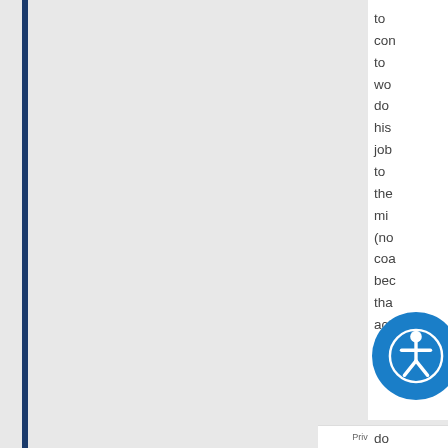to con to wo do his job to the mi (no coa bec tha act k do
Privacy · Terms